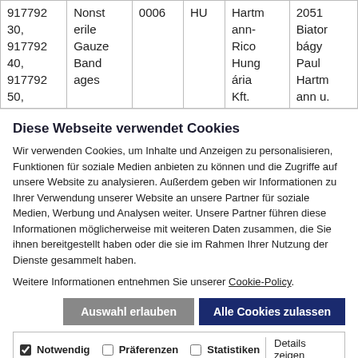| 917792 30, 917792 40, 917792 50, | Nonsterile Gauze Bandages | 0006 | HU | Hartmann-Rico Hungária Kft. | 2051 Biatorbágy Paul Hartm ann u. |
Diese Webseite verwendet Cookies
Wir verwenden Cookies, um Inhalte und Anzeigen zu personalisieren, Funktionen für soziale Medien anbieten zu können und die Zugriffe auf unsere Website zu analysieren. Außerdem geben wir Informationen zu Ihrer Verwendung unserer Website an unsere Partner für soziale Medien, Werbung und Analysen weiter. Unsere Partner führen diese Informationen möglicherweise mit weiteren Daten zusammen, die Sie ihnen bereitgestellt haben oder die sie im Rahmen Ihrer Nutzung der Dienste gesammelt haben.
Weitere Informationen entnehmen Sie unserer Cookie-Policy.
Auswahl erlauben | Alle Cookies zulassen
Notwendig | Präferenzen | Statistiken | Marketing | Details zeigen